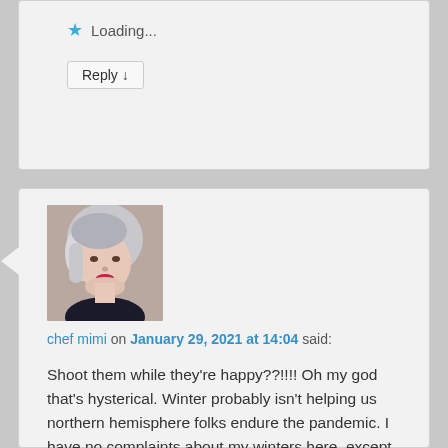★ Loading...
Reply ↓
[Figure (photo): Profile photo of chef mimi, a woman with short gray/silver hair, smiling, wearing a dark top.]
chef mimi on January 29, 2021 at 14:04 said:
Shoot them while they're happy??!!!! Oh my god that's hysterical. Winter probably isn't helping us northern hemisphere folks endure the pandemic. I have no complaints about my winters here, except for the occasional ice storm and loss of electricity and water, but it has been bitterly cold. But you're right, at least in the summer we could enjoy our gardens and get out of the damn house. I wonder if suicides and drug use and divorces have increased in numbers during this time? I don't